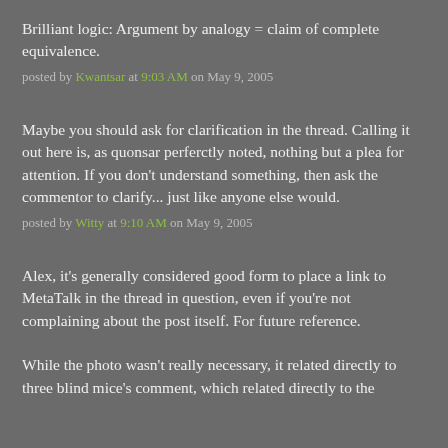Brilliant logic: Argument by analogy = claim of complete equivalence.
posted by Kwantsar at 9:03 AM on May 9, 2005
Maybe you should ask for clarification in the thread. Calling it out here is, as quonsar perferctly noted, nothing but a plea for attention. If you don't understand something, then ask the commentor to clarify... just like anyone else would.
posted by Witty at 9:10 AM on May 9, 2005
Alex, it's generally considered good form to place a link to MetaTalk in the thread in question, even if you're not complaining about the post itself. For future reference.
While the photo wasn't really necessary, it related directly to three blind mice's comment, which related directly to the